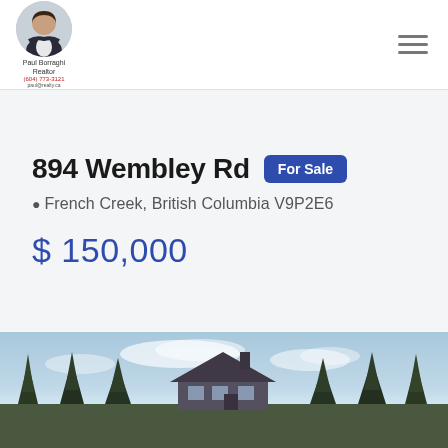Paul Borraghi Realtor, (604) 773-3121
894 Wembley Rd
For Sale
French Creek, British Columbia V9P2E6
$ 150,000
[Figure (photo): Exterior photo of residential property at 894 Wembley Rd in French Creek, BC, showing house silhouette with evergreen trees against a partly cloudy sky]